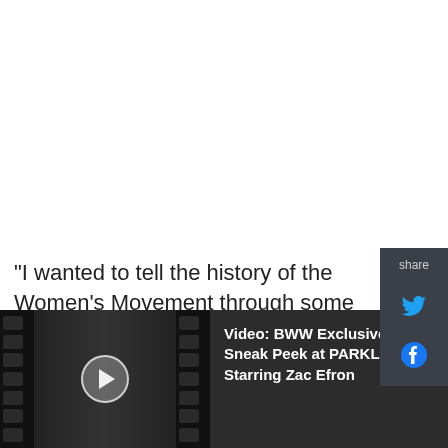[Figure (screenshot): Share sidebar with Twitter and Facebook icons on dark background]
"I wanted to tell the history of the Women's Movement through some of Wendy's most well-known plays," said Zimmerman, who created and will co-produce The Wendy Chronicles at The Braid
[Figure (screenshot): Video player bar at bottom: thumbnail with film strip and play button for 'Video: BWW Exclusive - Sneak Peek at PARKLAND, Starring Zac Efron' with close button]